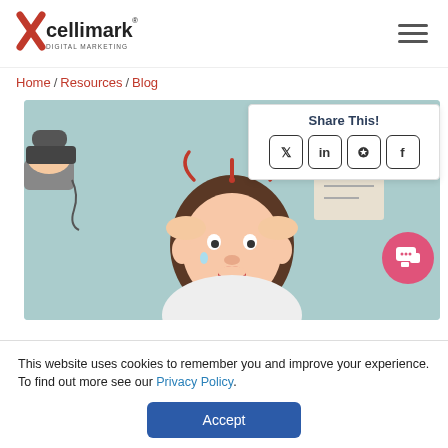[Figure (logo): Xcellimark Digital Marketing logo with red X and black text]
Home / Resources / Blog
Share This!
[Figure (illustration): Stressed cartoon person with hands on head, telephone and document being thrust at them, on light blue background]
This website uses cookies to remember you and improve your experience. To find out more see our Privacy Policy.
Accept